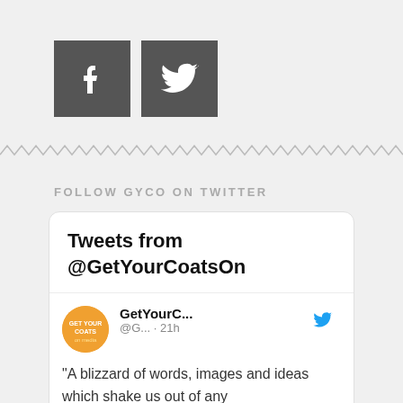[Figure (logo): Facebook and Twitter social media icon buttons (dark grey square backgrounds with white icons)]
FOLLOW GYCO ON TWITTER
[Figure (screenshot): Twitter widget showing 'Tweets from @GetYourCoatsOn' header, a tweet from GetYourC... @G... 21h reading: "A blizzard of words, images and ideas which shake us out of any]
"A blizzard of words, images and ideas which shake us out of any